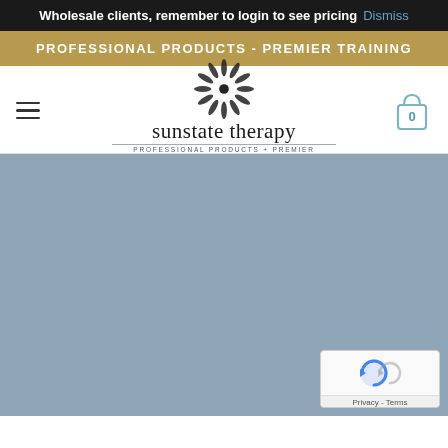Wholesale clients, remember to login to see pricing Dismiss
PROFESSIONAL PRODUCTS - PREMIER TRAINING
[Figure (logo): Sunstate Therapy logo with snowflake/mandala graphic icon above the text 'sunstate therapy' with tagline 'PROFESSIONAL PRODUCTS + PREMIER TRAINING']
[Figure (screenshot): Blue-grey background main content area of a website, mostly blank/loading. A reCAPTCHA badge is visible in the bottom right corner with 'Privacy - Terms' text.]